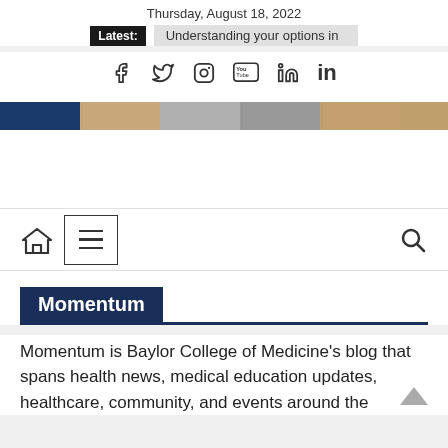Thursday, August 18, 2022
Latest: Understanding your options in
[Figure (other): Social media icons: Facebook, Twitter, Instagram, YouTube, LinkedIn]
[Figure (photo): Banner strip with blue and warm-toned medical/people imagery]
[Figure (other): Navigation bar with home icon, hamburger menu box, and search icon]
Momentum
Momentum is Baylor College of Medicine's blog that spans health news, medical education updates, healthcare, community, and events around the College.